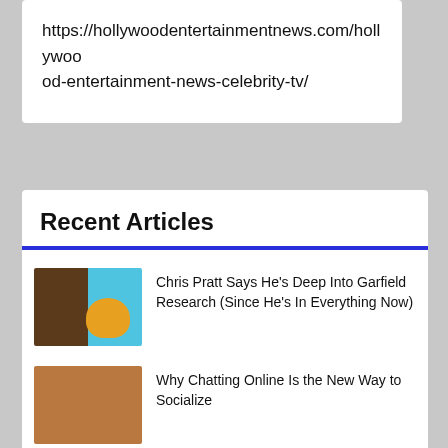https://hollywoodentertainmentnews.com/hollywood-entertainment-news-celebrity-tv/
Recent Articles
Chris Pratt Says He’s Deep Into Garfield Research (Since He’s In Everything Now)
Why Chatting Online Is the New Way to Socialize
Strange Lights in the Sky: Secret Experiments or Living Beings? – Mysterious Universe